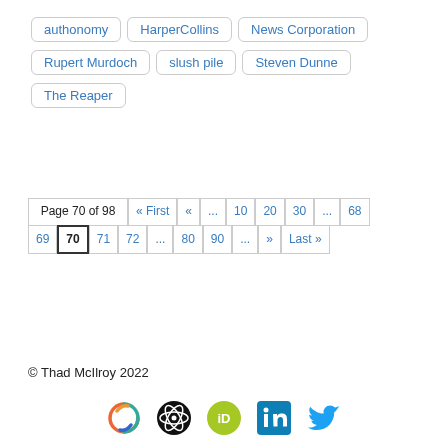authonomy
HarperCollins
News Corporation
Rupert Murdoch
slush pile
Steven Dunne
The Reaper
Page 70 of 98  « First  «  ...  10  20  30  ...  68  69  70  71  72  ...  80  90  ...  »  Last »
© Thad McIlroy 2022
[Figure (logo): Social media icons: spinning logo, atom/React logo, ORCID iD logo, LinkedIn logo, Twitter bird logo]